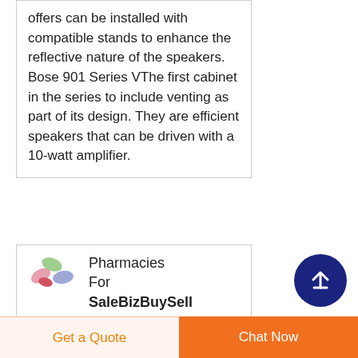offers can be installed with compatible stands to enhance the reflective nature of the speakers. Bose 901 Series VThe first cabinet in the series to include venting as part of its design. They are efficient speakers that can be driven with a 10-watt amplifier.
[Figure (logo): Colorful pill/capsule logo for a pharmacy listing site]
Pharmacies For SaleBizBuySell
Pharmacy for Sale in New York County, NY. Manhattan County, NY . LISTING ID #
[Figure (other): Dark navy blue circular scroll-to-top button with upward arrow icon]
Get a Quote
Chat Now